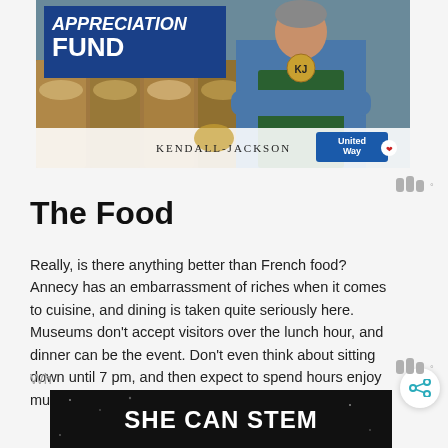[Figure (photo): Advertisement image showing a grocery store worker with crossed arms wearing a green apron and blue shirt, standing in front of bulk food bins. Blue text block reads 'APPRECIATION FUND'. Bottom bar shows Kendall-Jackson and United Way logos.]
www°
The Food
Really, is there anything better than French food? Annecy has an embarrassment of riches when it comes to cuisine, and dining is taken quite seriously here. Museums don't accept visitors over the lunch hour, and dinner can be the event. Don't even think about sitting down until 7 pm, and then expect to spend hours enjoy multi-course meal (hopefully with good company).
[Figure (screenshot): Advertisement with black background reading 'SHE CAN STEM' in bold white text]
Wh